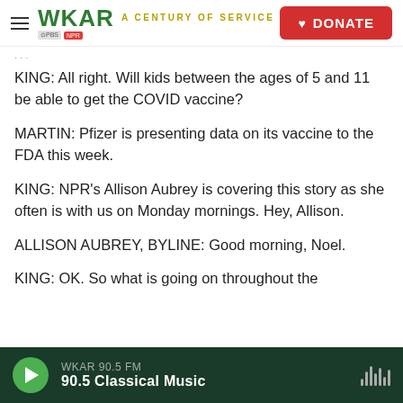WKAR A CENTURY OF SERVICE | DONATE
KING: All right. Will kids between the ages of 5 and 11 be able to get the COVID vaccine?
MARTIN: Pfizer is presenting data on its vaccine to the FDA this week.
KING: NPR's Allison Aubrey is covering this story as she often is with us on Monday mornings. Hey, Allison.
ALLISON AUBREY, BYLINE: Good morning, Noel.
KING: OK. So what is going on throughout the
WKAR 90.5 FM | 90.5 Classical Music